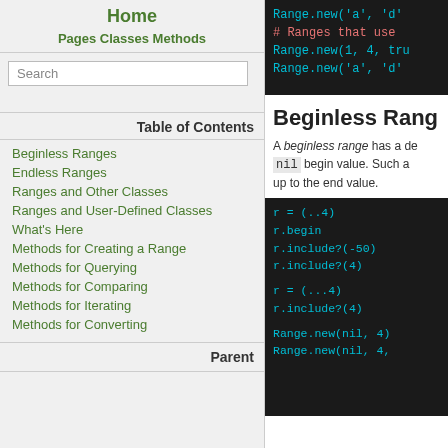Home
Pages Classes Methods
Search
Table of Contents
Beginless Ranges
Endless Ranges
Ranges and Other Classes
Ranges and User-Defined Classes
What's Here
Methods for Creating a Range
Methods for Querying
Methods for Comparing
Methods for Iterating
Methods for Converting
Parent
[Figure (screenshot): Code block showing Range.new('a', 'd' and # Ranges that use ... Range.new(1, 4, tru... Range.new('a', 'd'...]
Beginless Rang...
A beginless range has a def... nil begin value. Such a... up to the end value.
[Figure (screenshot): Code block showing: r = (..4), r.begin, r.include?(-50), r.include?(4), r = (...4), r.include?(4), Range.new(nil, 4), Range.new(nil, 4, t...]